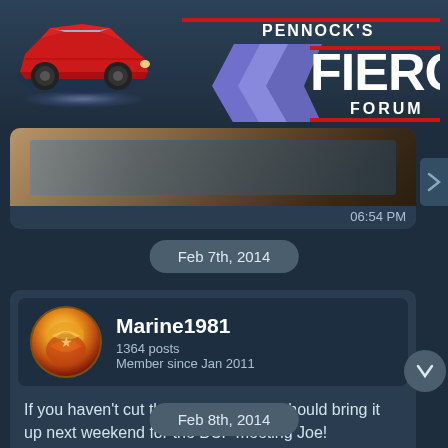[Figure (logo): Pennock's Fiero Forum logo with red Pontiac Fiero car illustration and stylized FIERO text]
[Figure (photo): Partially visible image at bottom of previous message, appears to show a room interior]
06:54 PM
Feb 7th, 2014
[Figure (photo): User avatar for Marine1981 - gold and red decorated circular avatar]
Marine1981
1364 posts
Member since Jan 2011
If you haven't cut the top off yet you should bring it up next weekend for the BCF meeting Joe!
09:31 PM
Feb 8th, 2014